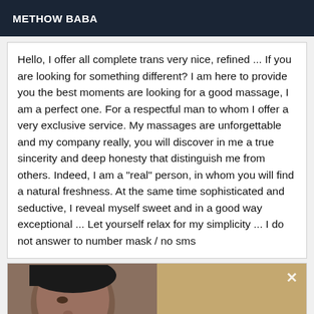METHOW BABA
Hello, I offer all complete trans very nice, refined ... If you are looking for something different? I am here to provide you the best moments are looking for a good massage, I am a perfect one. For a respectful man to whom I offer a very exclusive service. My massages are unforgettable and my company really, you will discover in me a true sincerity and deep honesty that distinguish me from others. Indeed, I am a "real" person, in whom you will find a natural freshness. At the same time sophisticated and seductive, I reveal myself sweet and in a good way exceptional ... Let yourself relax for my simplicity ... I do not answer to number mask / no sms
[Figure (photo): Close-up photo of a person's face on the left side, with a hand touching dark hair on a textured background on the right side. A close (x) button is visible in the top right corner.]